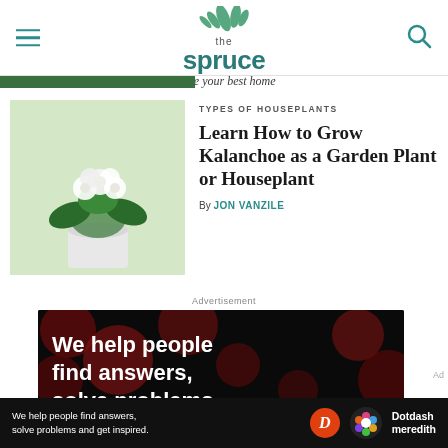the spruce — Make your best home
TYPES OF HOUSEPLANTS
Learn How to Grow Kalanchoe as a Garden Plant or Houseplant
By JON VANZILE
Advertisement
[Figure (photo): Advertisement banner: dark background with red bokeh circles, text reading 'We help people find answers, solve problems']
We help people find answers, solve problems and get inspired. Dotdash meredith